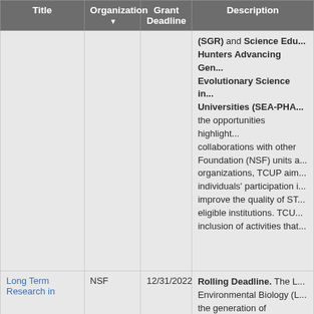| Title | Organization ▼ | Grant Deadline | Description |
| --- | --- | --- | --- |
|  |  |  | (SGR) and Science Edu... Hunters Advancing Gen... Evolutionary Science in... Universities (SEA-PHA... the opportunities highlight... collaborations with other... Foundation (NSF) units a... organizations, TCUP aim... individuals' participation i... improve the quality of ST... eligible institutions. TCU... inclusion of activities that... |
| Long Term Research in | NSF | 12/31/2022 | Rolling Deadline. The L... Environmental Biology (L... the generation of extende... address important questio... biology, ecology, and eco... Research areas include,... effects of natural selectio... processes on populations... ecosystems; the effects o... |